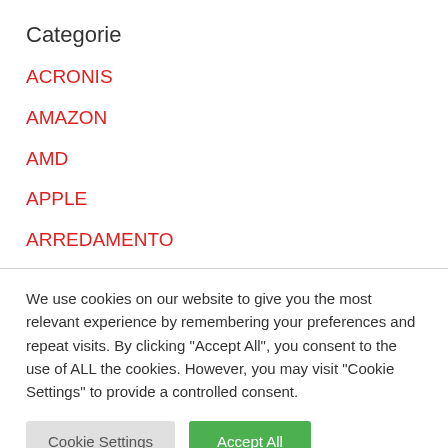Categorie
ACRONIS
AMAZON
AMD
APPLE
ARREDAMENTO
ASUS NEW
We use cookies on our website to give you the most relevant experience by remembering your preferences and repeat visits. By clicking "Accept All", you consent to the use of ALL the cookies. However, you may visit "Cookie Settings" to provide a controlled consent.
Cookie Settings | Accept All